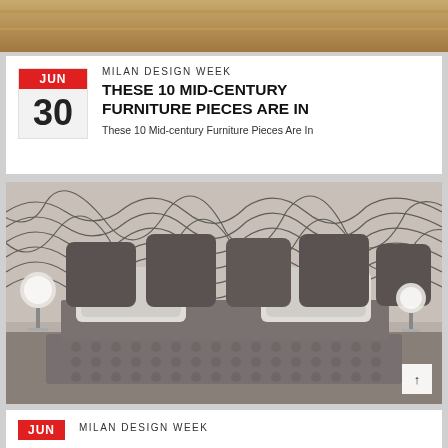[Figure (photo): Partial top image showing a warm golden/beige interior detail]
MILAN DESIGN WEEK
THESE 10 MID-CENTURY FURNITURE PIECES ARE IN
These 10 Mid-century Furniture Pieces Are In
[Figure (photo): Luxurious bedroom interior with tufted grey bed, decorative headboard panels, round globe lamps, and bold black-and-white wave pattern wallpaper]
MILAN DESIGN WEEK